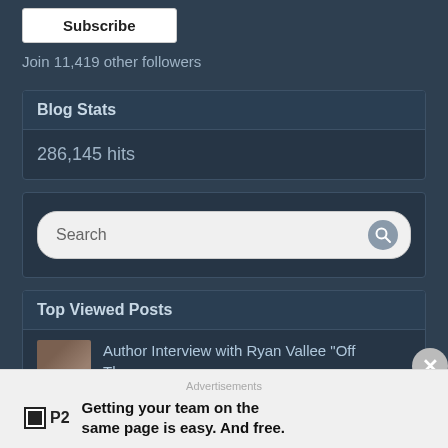Subscribe
Join 11,419 other followers
Blog Stats
286,145 hits
[Figure (other): Search bar with magnifying glass icon]
Top Viewed Posts
Author Interview with Ryan Vallee "Off The..."
Advertisements
Getting your team on the same page is easy. And free.